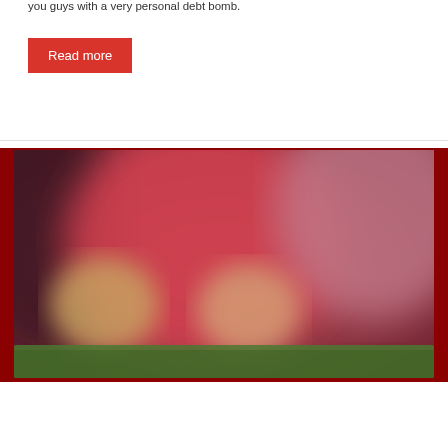you guys with a very personal debt bomb.
Read more
[Figure (photo): Blurred colorful bokeh image with red, pink, and green shapes, appearing to be a decorative podcast episode thumbnail image.]
Podcast
Death To Smoochy – Episode 106
June 29, 2018   bcottington85   0 Comments